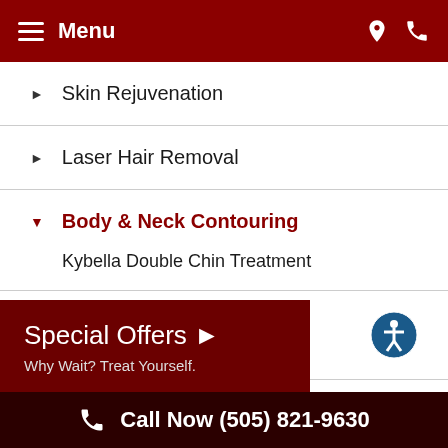Menu
Skin Rejuvenation
Laser Hair Removal
Body & Neck Contouring
Kybella Double Chin Treatment
Products
Special Offers ▶
Why Wait? Treat Yourself.
Call Now (505) 821-9630